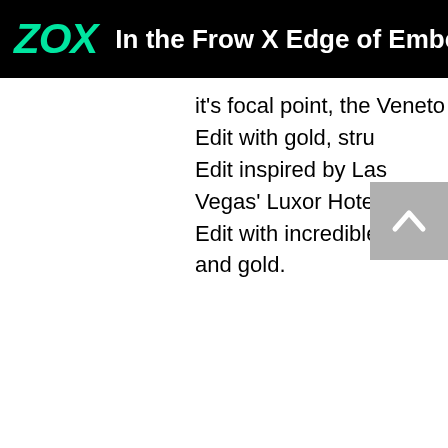ZOX | In the Frow X Edge of Ember la
it's focal point, the Veneto Edit with gold, stru... Edit inspired by Las Vegas' Luxor Hotel and i... Edit with incredible pearls and gold.